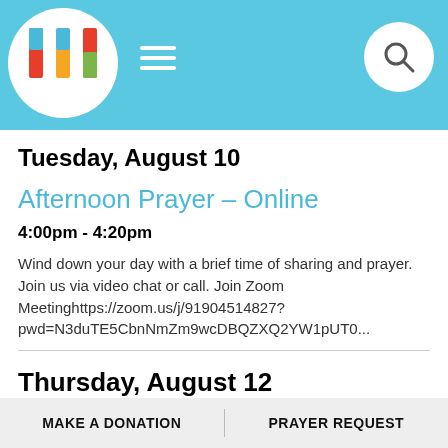Church app header with logo, hamburger menu, and search icon
Tuesday, August 10
Afternoon Prayer – Online
4:00pm - 4:20pm
Wind down your day with a brief time of sharing and prayer. Join us via video chat or call. Join Zoom Meetinghttps://zoom.us/j/91904514827?pwd=N3duTE5CbnNmZm9wcDBQZXQ2YW1pUT0...
Thursday, August 12
MAKE A DONATION | PRAYER REQUEST